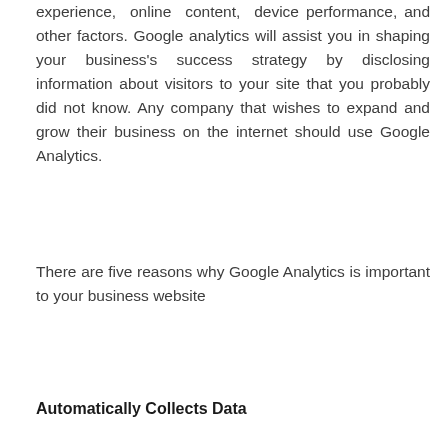experience, online content, device performance, and other factors. Google analytics will assist you in shaping your business's success strategy by disclosing information about visitors to your site that you probably did not know. Any company that wishes to expand and grow their business on the internet should use Google Analytics.
There are five reasons why Google Analytics is important to your business website
Automatically Collects Data